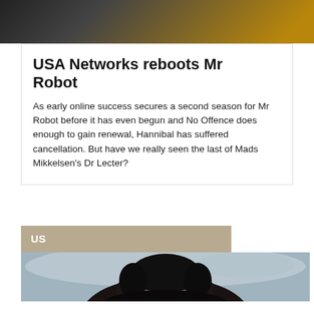[Figure (photo): Dark photo of a person at the top of the page, partially cropped]
USA Networks reboots Mr Robot
As early online success secures a second season for Mr Robot before it has even begun and No Offence does enough to gain renewal, Hannibal has suffered cancellation. But have we really seen the last of Mads Mikkelsen’s Dr Lecter?
US
[Figure (photo): Photo of a young man with dark curly hair in winter clothing, resembling Jon Snow from Game of Thrones, with snowy background]